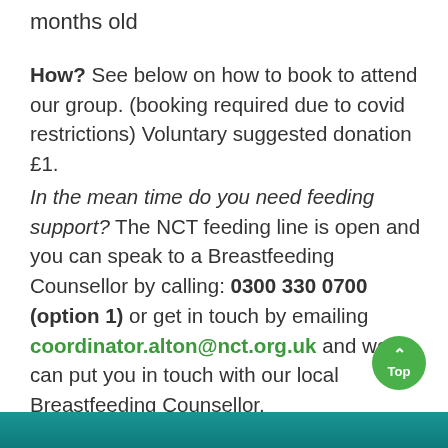months old
How? See below on how to book to attend our group. (booking required due to covid restrictions) Voluntary suggested donation £1.
In the mean time do you need feeding support? The NCT feeding line is open and you can speak to a Breastfeeding Counsellor by calling: 0300 330 0700 (option 1) or get in touch by emailing coordinator.alton@nct.org.uk and we can put you in touch with our local Breastfeeding Counsellor.
[Figure (other): Green circular 'Top' scroll-to-top button with upward chevron arrow]
[Figure (photo): Partial teal/dark image at the bottom of the page]